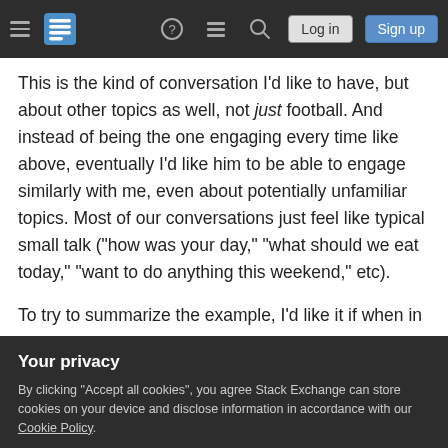Stack Exchange navigation bar with hamburger menu, logo, help, chat, search icons, Log in and Sign up buttons
This is the kind of conversation I'd like to have, but about other topics as well, not just football. And instead of being the one engaging every time like above, eventually I'd like him to be able to engage similarly with me, even about potentially unfamiliar topics. Most of our conversations just feel like typical small talk ("how was your day," "what should we eat today," "want to do anything this weekend," etc).
To try to summarize the example, I'd like it if when in
Your privacy
By clicking "Accept all cookies", you agree Stack Exchange can store cookies on your device and disclose information in accordance with our Cookie Policy.
Accept all cookies
Customize settings
Be open to discussing in more detail than